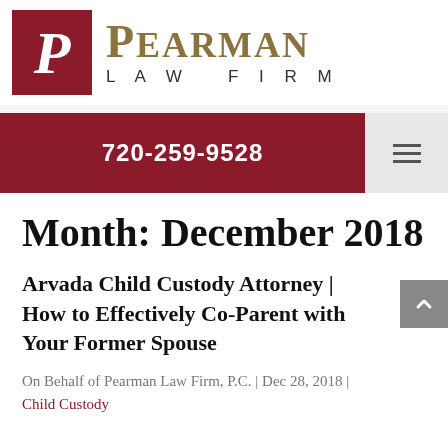[Figure (logo): Pearman Law Firm logo with dark red square containing italic P and gold PEARMAN text with LAW FIRM subtitle]
720-259-9528
Month: December 2018
Arvada Child Custody Attorney | How to Effectively Co-Parent with Your Former Spouse
On Behalf of Pearman Law Firm, P.C. | Dec 28, 2018 | Child Custody